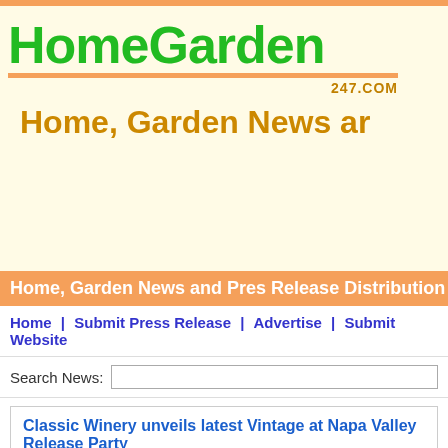HomeGarden 247.COM
Home, Garden News and Press Release Distribution
Home, Garden News and Pres Release Distribution
Home | Submit Press Release | Advertise | Submit Website
Search News:
Classic Winery unveils latest Vintage at Napa Valley Release Party
(HomeGarden247.com, February 08, 20... VALLEY, CA - St. Helena is a city in Na... California's Wine Country, and home of... restaurants, luxurious resorts, and a va...